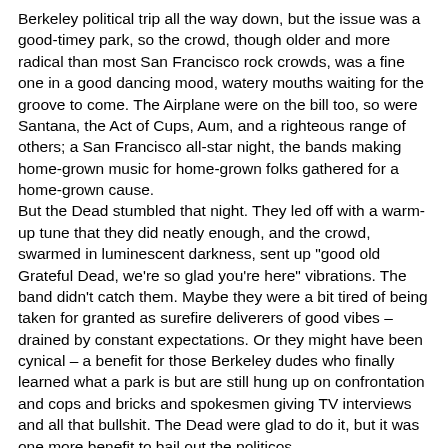Berkeley political trip all the way down, but the issue was a good-timey park, so the crowd, though older and more radical than most San Francisco rock crowds, was a fine one in a good dancing mood, watery mouths waiting for the groove to come. The Airplane were on the bill too, so were Santana, the Act of Cups, Aum, and a righteous range of others; a San Francisco all-star night, the bands making home-grown music for home-grown folks gathered for a home-grown cause.
But the Dead stumbled that night. They led off with a warm-up tune that they did neatly enough, and the crowd, swarmed in luminescent darkness, sent up "good old Grateful Dead, we're so glad you're here" vibrations. The band didn't catch them. Maybe they were a bit tired of being taken for granted as surefire deliverers of good vibes – drained by constant expectations. Or they might have been cynical – a benefit for those Berkeley dudes who finally learned what a park is but are still hung up on confrontation and cops and bricks and spokesmen giving TV interviews and all that bullshit. The Dead were glad to do it, but it was one more benefit to bail out the politicos.
Maybe they were too stoned on one of the Bear's custom-